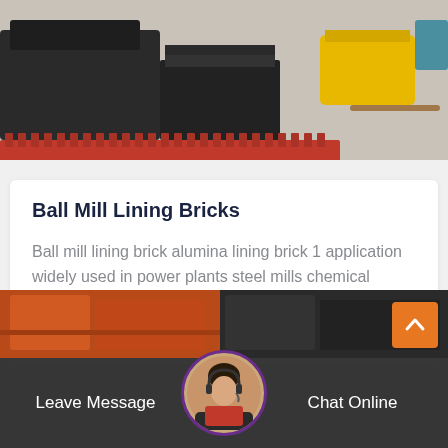[Figure (photo): Industrial facility floor showing large black equipment/molds, yellow block, and red spiked components on a concrete floor]
Ball Mill Lining Bricks
Ball mill lining brick alumina lining brick 1 application widely used in power plants steel mills chemical rubber and coating fields is the ideal…
More Details
[Figure (photo): Bottom section showing industrial machinery in orange/dark tones with a customer service representative avatar and Leave Message / Chat Online bar]
Leave Message    Chat Online